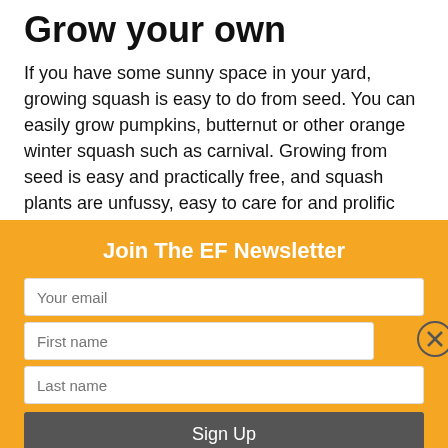Grow your own
If you have some sunny space in your yard, growing squash is easy to do from seed. You can easily grow pumpkins, butternut or other orange winter squash such as carnival.  Growing from seed is easy and practically free, and squash plants are unfussy, easy to care for and prolific producers. Using your home grown squash makes this meal nearly free.  If you use heirloom seeds, you can easily save seed to regrow the next year. Enjoy!
[Figure (other): Social media sharing icons (Facebook, Twitter, YouTube, and two others) in blue and red]
Join The EF Newsletter
Your email
First name
Last name
Sign Up